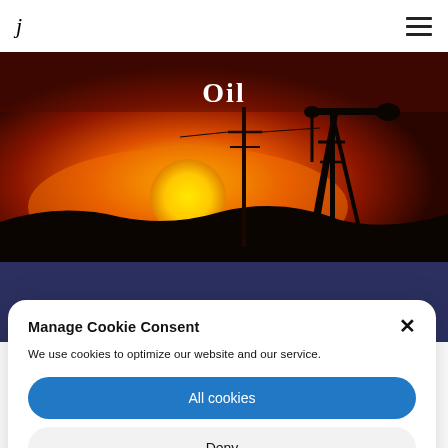j ☰
[Figure (photo): Sunset scene with oil pump jack silhouette against an orange-red sky with a large yellow sun. Text 'Oil' overlaid in white serif font at top center.]
Manage Cookie Consent
We use cookies to optimize our website and our service.
All cookies
Deny